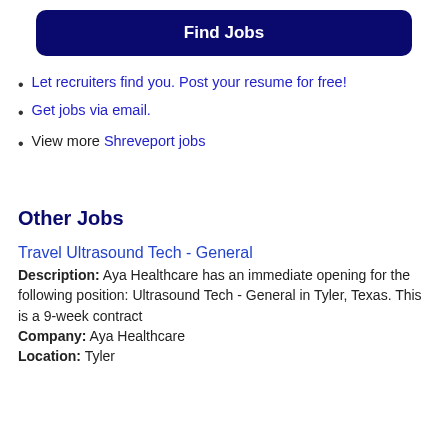Find Jobs
Let recruiters find you. Post your resume for free!
Get jobs via email.
View more Shreveport jobs
Other Jobs
Travel Ultrasound Tech - General
Description: Aya Healthcare has an immediate opening for the following position: Ultrasound Tech - General in Tyler, Texas. This is a 9-week contract
Company: Aya Healthcare
Location: Tyler